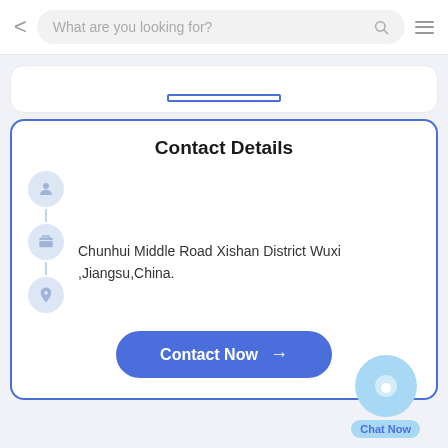What are you looking for?
Contact Details
Chunhui Middle Road Xishan District Wuxi ,Jiangsu,China.
Contact Now →
Chat Now
Get The Best Price For